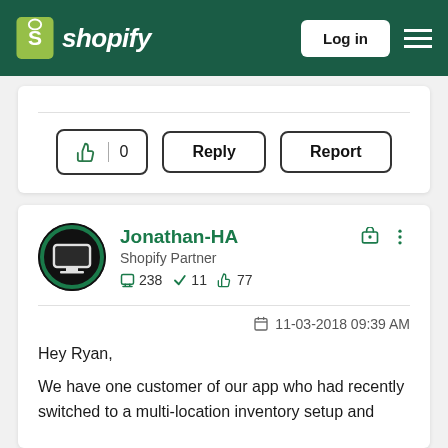Shopify — Log in
[Figure (screenshot): Action buttons: thumbs up with count 0, Reply, Report]
Jonathan-HA
Shopify Partner
238  11  77
11-03-2018 09:39 AM
Hey Ryan,
We have one customer of our app who had recently switched to a multi-location inventory setup and